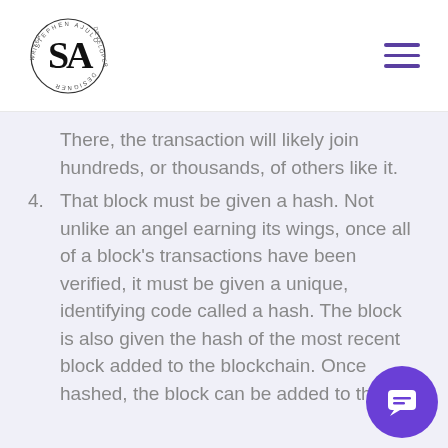Stephen Ajulo – Writer · Developer · Creator · Designer
There, the transaction will likely join hundreds, or thousands, of others like it.
4. That block must be given a hash. Not unlike an angel earning its wings, once all of a block's transactions have been verified, it must be given a unique, identifying code called a hash. The block is also given the hash of the most recent block added to the blockchain. Once hashed, the block can be added to the